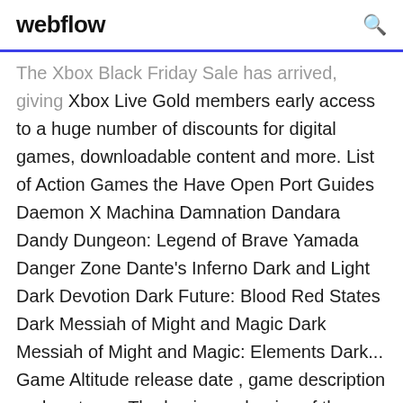webflow
The Xbox Black Friday Sale has arrived, giving Xbox Live Gold members early access to a huge number of discounts for digital games, downloadable content and more. List of Action Games the Have Open Port Guides Daemon X Machina Damnation Dandara Dandy Dungeon: Legend of Brave Yamada Danger Zone Dante's Inferno Dark and Light Dark Devotion Dark Future: Blood Red States Dark Messiah of Might and Magic Dark Messiah of Might and Magic: Elements Dark... Game Altitude release date , game description and system... The basic mechanics of the game Altitude studied literally in 20 seconds: in two dimensions is worn booming squadron aircraft in the world,